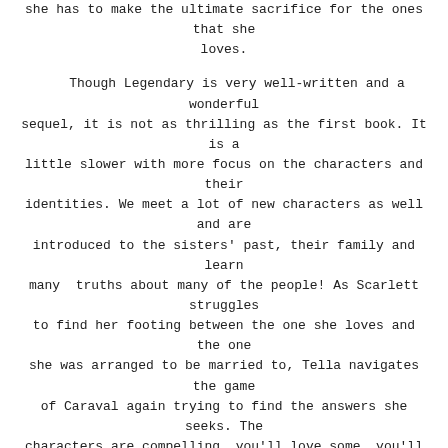she has to make the ultimate sacrifice for the ones that she loves.
Though Legendary is very well-written and a wonderful sequel, it is not as thrilling as the first book. It is a little slower with more focus on the characters and their identities. We meet a lot of new characters as well and are introduced to the sisters' past, their family and learn many  truths about many of the people! As Scarlett struggles to find her footing between the one she loves and the one she was arranged to be married to, Tella navigates the game of Caraval again trying to find the answers she seeks. The characters are compelling, you'll love some, you'll hate some and there are those that fall in between.
The story is definitely worth the read and the hype and is a fitting sequel to the first, clearing up many things and giving the reader much more in the form of love and friendship. The cliffhanger at the end leaves us wanting for more and will definitely force the readers to pick up the